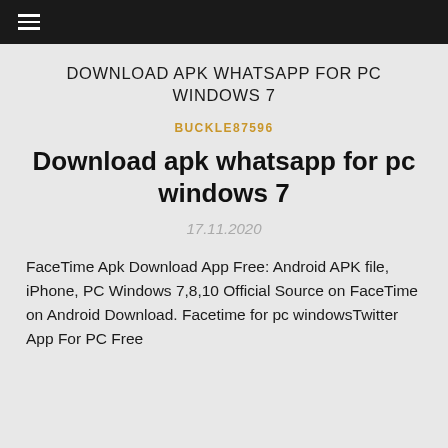☰
DOWNLOAD APK WHATSAPP FOR PC WINDOWS 7
BUCKLE87596
Download apk whatsapp for pc windows 7
17.11.2020
FaceTime Apk Download App Free: Android APK file, iPhone, PC Windows 7,8,10 Official Source on FaceTime on Android Download. Facetime for pc windowsTwitter App For PC Free